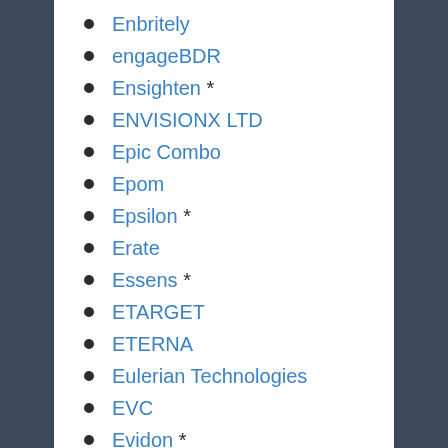Enbritely
engageBDR
Ensighten *
ENVISIONX LTD
Epic Combo
Epom
Epsilon *
Erate
Essens *
ETARGET
ETERNA
Eulerian Technologies
EVC
Evidon *
Evolution Technologies SSP
Exactag *
Expedia, Inc.